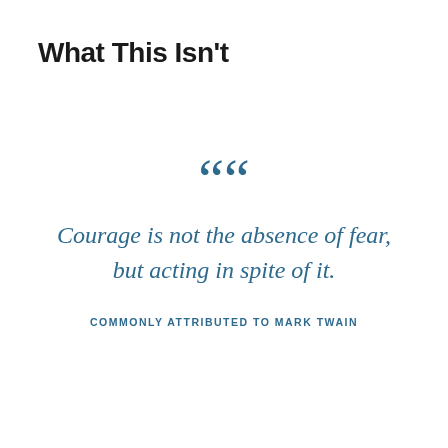What This Isn't
“Courage is not the absence of fear, but acting in spite of it.
COMMONLY ATTRIBUTED TO MARK TWAIN